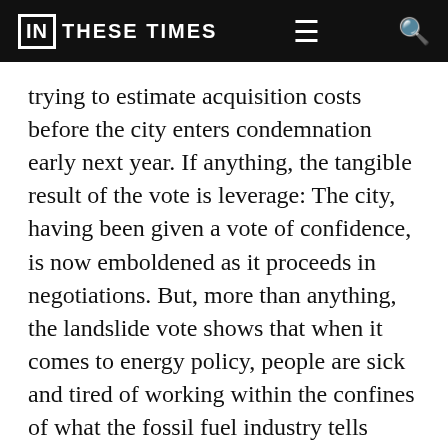IN THESE TIMES
trying to estimate acquisition costs before the city enters condemnation early next year. If anything, the tangible result of the vote is leverage: The city, having been given a vote of confidence, is now emboldened as it proceeds in negotiations. But, more than anything, the landslide vote shows that when it comes to energy policy, people are sick and tired of working within the confines of what the fossil fuel industry tells them is possible. And with similar municipalization movements already springing up across the country, Boulder may serve as a blueprint for the kind of bottom-up energy revolution that we so desperately need.